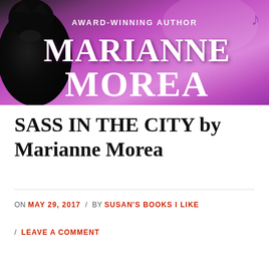[Figure (illustration): Banner image for author Marianne Morea. Purple/magenta gradient background with a black cat silhouette on the left. Text reads 'AWARD-WINNING AUTHOR' above large bold white text 'MARIANNE MOREA'. A musical note decorates the upper right.]
SASS IN THE CITY by Marianne Morea
ON MAY 29, 2017 / BY SUSAN'S BOOKS I LIKE / LEAVE A COMMENT